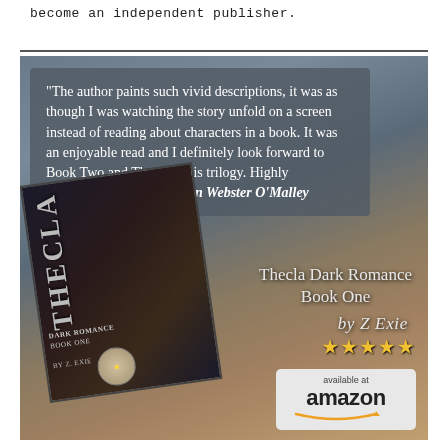become an independent publisher.
[Figure (illustration): Book promotion image for 'Thecla Dark Romance Book One by Z Exie' featuring a review quote by Kathleen Webster O'Malley, a book cover with dark romantic imagery, five gold stars, and an Amazon availability badge on a moody landscape background.]